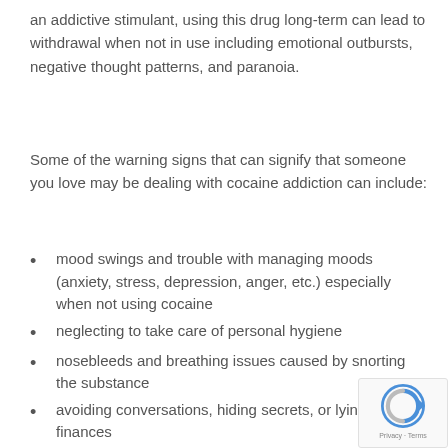an addictive stimulant, using this drug long-term can lead to withdrawal when not in use including emotional outbursts, negative thought patterns, and paranoia.
Some of the warning signs that can signify that someone you love may be dealing with cocaine addiction can include:
mood swings and trouble with managing moods (anxiety, stress, depression, anger, etc.) especially when not using cocaine
neglecting to take care of personal hygiene
nosebleeds and breathing issues caused by snorting the substance
avoiding conversations, hiding secrets, or lying about finances